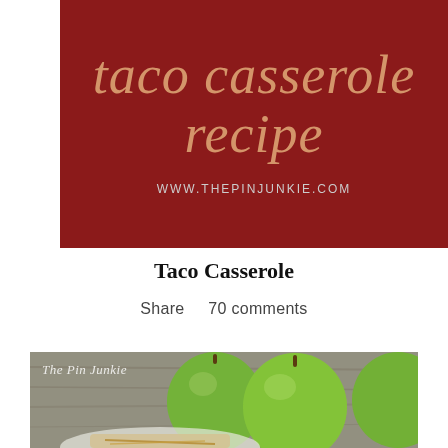[Figure (illustration): Dark red/maroon banner with italic serif text reading 'taco casserole recipe' in a warm salmon/tan color, and the URL 'WWW.THEPINJUNKIE.COM' in small light gray caps below]
Taco Casserole
Share    70 comments
[Figure (photo): Photo of three green Granny Smith apples on a wooden table surface with a plate of food (apple slices with caramel drizzle and toppings) in the foreground. 'The Pin Junkie' watermark in cursive in the upper left corner.]